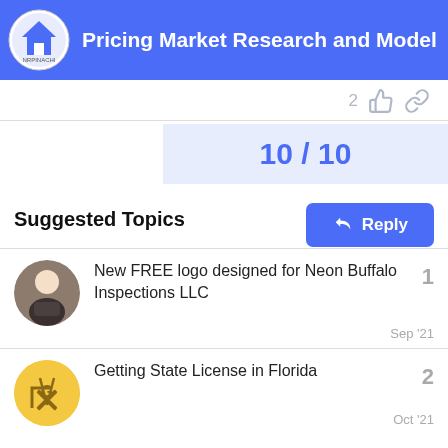Pricing Market Research and Model
2
10 / 10
Reply
Suggested Topics
New FREE logo designed for Neon Buffalo Inspections LLC
1
Sep '21
Getting State License in Florida
2
Oct '21
Join me in wishing Tennessee CMI® Donnie Bentley a happy birthday. Member for nearly 13 years
9
Nov '21